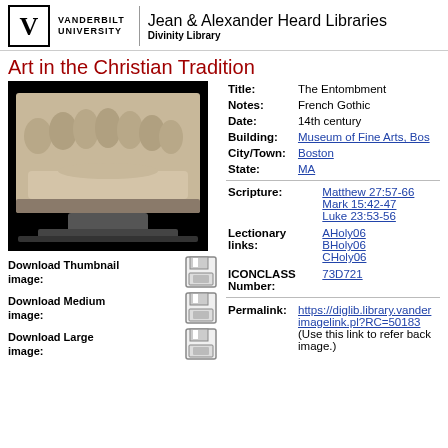Vanderbilt University | Jean & Alexander Heard Libraries | Divinity Library
Art in the Christian Tradition
[Figure (photo): Photograph of a French Gothic stone relief sculpture depicting The Entombment, 14th century, on a dark background]
Download Thumbnail image:
Download Medium image:
Download Large image:
| Field | Value |
| --- | --- |
| Title: | The Entombment |
| Notes: | French Gothic |
| Date: | 14th century |
| Building: | Museum of Fine Arts, Bos... |
| City/Town: | Boston |
| State: | MA |
| Scripture: | Matthew 27:57-66
Mark 15:42-47
Luke 23:53-56 |
| Lectionary links: | AHoly06
BHoly06
CHoly06 |
| ICONCLASS Number: | 73D721 |
| Permalink: | https://diglib.library.vander...imagelink.pl?RC=50183
(Use this link to refer back image.) |